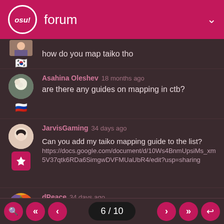osu! forum
how do you map taiko tho
Asahina Oleshev 18 months ago
are there any guides on mapping in ctb?
JarvisGaming 34 days ago
Can you add my taiko mapping guide to the list?
https://docs.google.com/document/d/10Ws4BnmUpsiMs_xm5V37qtk6RDa6SimgwDVFMUaUbR4/edit?usp=sharing
dPeace 34 days ago
JarvisGaming wrote:
Can you add my taiko mapping guide to the list?
https://docs.google.com/document/d/10Ws4BnmUpsiMs...
6 / 10